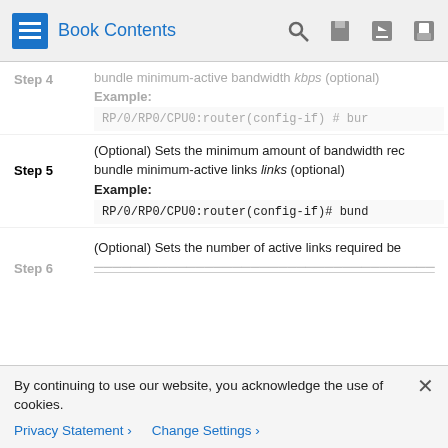Book Contents
Step 4 (partial): bundle minimum-active bandwidth kbps (optional)
Example:
RP/0/RP0/CPU0:router(config-if) # bun
Step 5: (Optional) Sets the minimum amount of bandwidth rec
bundle minimum-active links links (optional)
Example:
RP/0/RP0/CPU0:router(config-if)# bund
Step 5 continued: (Optional) Sets the number of active links required be
Step 6 (partial, cut off)
By continuing to use our website, you acknowledge the use of cookies.
Privacy Statement > Change Settings >